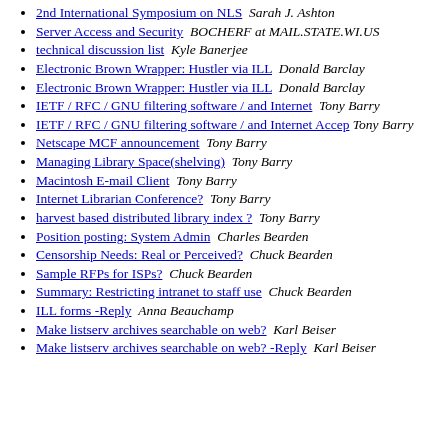2nd International Symposium on NLS  Sarah J. Ashton
Server Access and Security  BOCHERF at MAIL.STATE.WI.US
technical discussion list  Kyle Banerjee
Electronic Brown Wrapper: Hustler via ILL  Donald Barclay
Electronic Brown Wrapper: Hustler via ILL  Donald Barclay
IETF / RFC / GNU filtering software / and Internet  Tony Barry
IETF / RFC / GNU filtering software / and Internet Accep  Tony Barry
Netscape MCF announcement  Tony Barry
Managing Library Space(shelving)  Tony Barry
Macintosh E-mail Client  Tony Barry
Internet Librarian Conference?  Tony Barry
harvest based distributed library index ?  Tony Barry
Position posting: System Admin  Charles Bearden
Censorship Needs: Real or Perceived?  Chuck Bearden
Sample RFPs for ISPs?  Chuck Bearden
Summary: Restricting intranet to staff use  Chuck Bearden
ILL forms -Reply  Anna Beauchamp
Make listserv archives searchable on web?  Karl Beiser
Make listserv archives searchable on web? -Reply  Karl Beiser